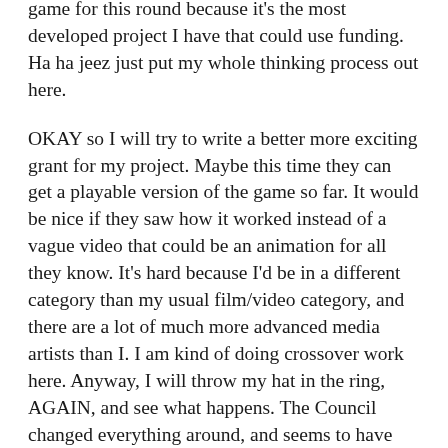game for this round because it's the most developed project I have that could use funding. Ha ha jeez just put my whole thinking process out here.
OKAY so I will try to write a better more exciting grant for my project. Maybe this time they can get a playable version of the game so far. It would be nice if they saw how it worked instead of a vague video that could be an animation for all they know. It's hard because I'd be in a different category than my usual film/video category, and there are a lot of much more advanced media artists than I. I am kind of doing crossover work here. Anyway, I will throw my hat in the ring, AGAIN, and see what happens. The Council changed everything around, and seems to have more money. So who knows?
Either way, a new Macbook is coming, I got some good sound equipment, I recorded a monologue, I've made two videos so far, I have an outline to write, and a grant to